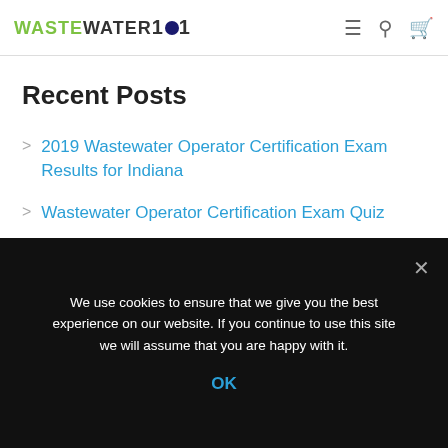WASTEWATER 101 [navigation header with menu, search, and cart icons]
Recent Posts
2019 Wastewater Operator Certification Exam Results for Indiana
Wastewater Operator Certification Exam Quiz
Time For Math
Wastewater Operator Certification Exam Quiz
We use cookies to ensure that we give you the best experience on our website. If you continue to use this site we will assume that you are happy with it.
OK